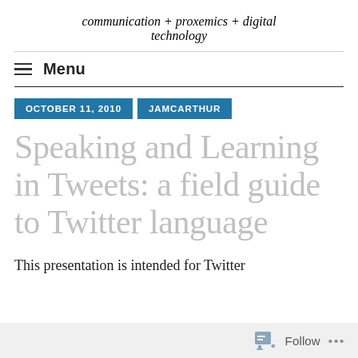communication + proxemics + digital technology
Menu
OCTOBER 11, 2010   JAMCARTHUR
Speaking and Learning in Tweets: a field guide to Twitter language
This presentation is intended for Twitter
Follow ...